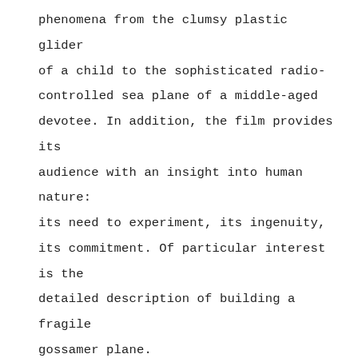phenomena from the clumsy plastic glider of a child to the sophisticated radio-controlled sea plane of a middle-aged devotee. In addition, the film provides its audience with an insight into human nature: its need to experiment, its ingenuity, its commitment. Of particular interest is the detailed description of building a fragile gossamer plane.

The second film, "Fly Away", presents in sequential form the efforts of a man to fly and then recapture his model airplane. Here